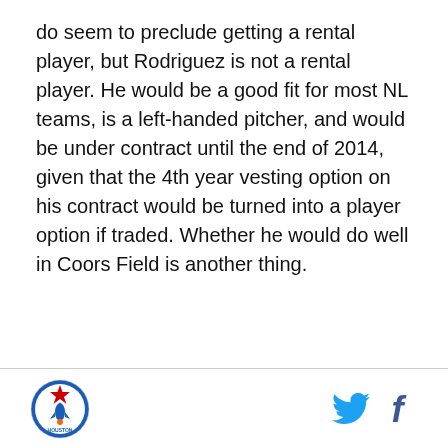do seem to preclude getting a rental player, but Rodriguez is not a rental player. He would be a good fit for most NL teams, is a left-handed pitcher, and would be under contract until the end of 2014, given that the 4th year vesting option on his contract would be turned into a player option if traded. Whether he would do well in Coors Field is another thing.
[Houston Astros logo] [Twitter icon] [Facebook icon]